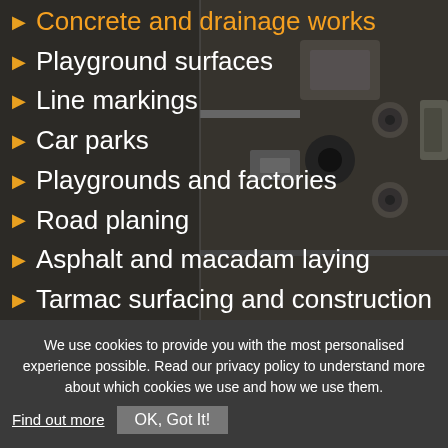Concrete and drainage works
Playground surfaces
Line markings
Car parks
Playgrounds and factories
Road planing
Asphalt and macadam laying
Tarmac surfacing and construction
Forecourts
We use cookies to provide you with the most personalised experience possible. Read our privacy policy to understand more about which cookies we use and how we use them. Find out more  OK, Got It!